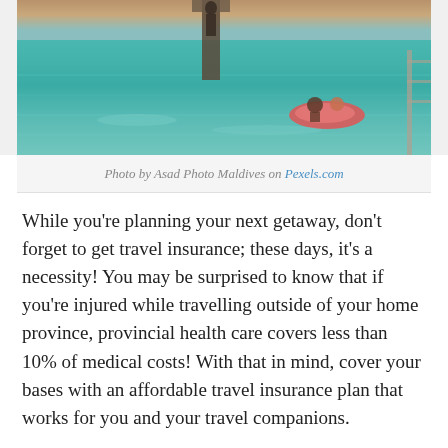[Figure (photo): People swimming and floating in turquoise water at sunset, with a dock or pier visible in the background. Children are on a pink inflatable float.]
Photo by Asad Photo Maldives on Pexels.com
While you're planning your next getaway, don't forget to get travel insurance; these days, it's a necessity! You may be surprised to know that if you're injured while travelling outside of your home province, provincial health care covers less than 10% of medical costs! With that in mind, cover your bases with an affordable travel insurance plan that works for you and your travel companions.